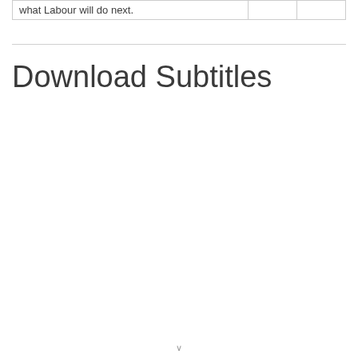what Labour will do next.
Download Subtitles